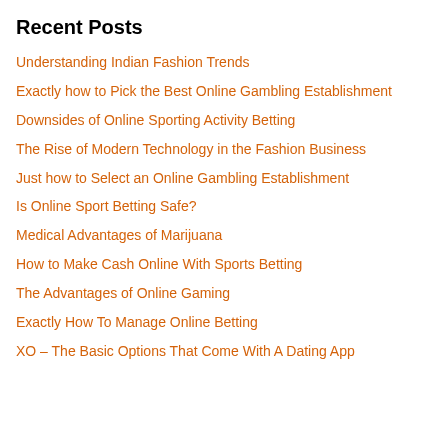Recent Posts
Understanding Indian Fashion Trends
Exactly how to Pick the Best Online Gambling Establishment
Downsides of Online Sporting Activity Betting
The Rise of Modern Technology in the Fashion Business
Just how to Select an Online Gambling Establishment
Is Online Sport Betting Safe?
Medical Advantages of Marijuana
How to Make Cash Online With Sports Betting
The Advantages of Online Gaming
Exactly How To Manage Online Betting
XO – The Basic Options That Come With A Dating App